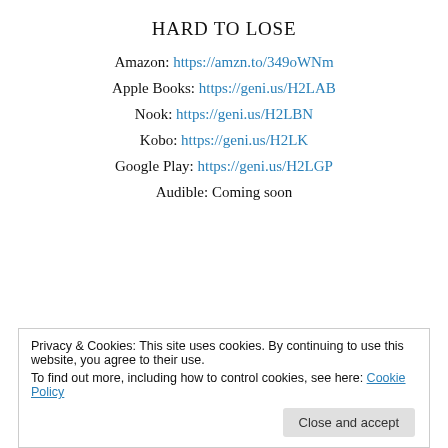HARD TO LOSE
Amazon: https://amzn.to/349oWNm
Apple Books: https://geni.us/H2LAB
Nook: https://geni.us/H2LBN
Kobo: https://geni.us/H2LK
Google Play: https://geni.us/H2LGP
Audible: Coming soon
Privacy & Cookies: This site uses cookies. By continuing to use this website, you agree to their use.
To find out more, including how to control cookies, see here: Cookie Policy
Close and accept